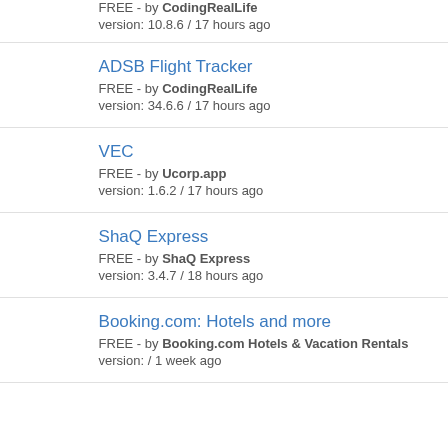FREE - by CodingRealLife
version: 10.8.6 / 17 hours ago
ADSB Flight Tracker
FREE - by CodingRealLife
version: 34.6.6 / 17 hours ago
VEC
FREE - by Ucorp.app
version: 1.6.2 / 17 hours ago
ShaQ Express
FREE - by ShaQ Express
version: 3.4.7 / 18 hours ago
Booking.com: Hotels and more
FREE - by Booking.com Hotels & Vacation Rentals
version: / 1 week ago